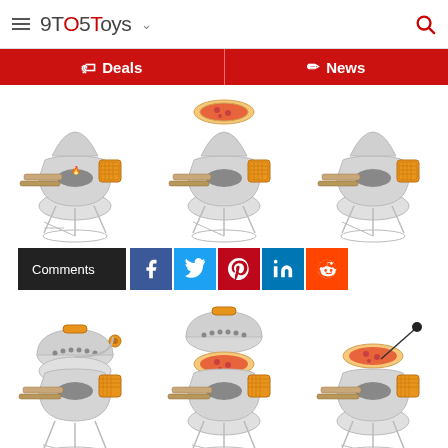9TO5Toys
[Figure (screenshot): Navigation bar with Deals and News tabs on red background]
[Figure (photo): Three images of a wood-burning camp stove/oven with pizza attachment shown from different angles — top row]
[Figure (screenshot): Social share bar with Comments button, Facebook, Twitter, Pinterest, LinkedIn, and Reddit buttons]
[Figure (photo): Three images of a wood-burning camp stove/oven with dome lid and pizza shown — bottom row]